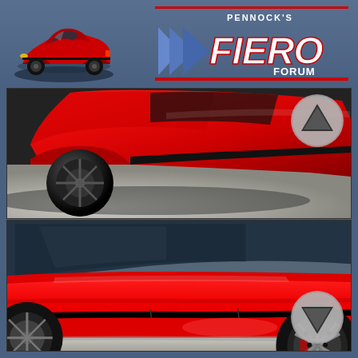[Figure (logo): Pennock's Fiero Forum logo with red Pontiac Fiero car illustration on left and stylized text logo on right]
[Figure (photo): Close-up photo of red Pontiac Fiero rear quarter panel and rocker panel trim detail, black trim molding visible]
[Figure (photo): Side view photo of red Pontiac Fiero showing door and rocker panel area with black trim molding strip running along lower body]